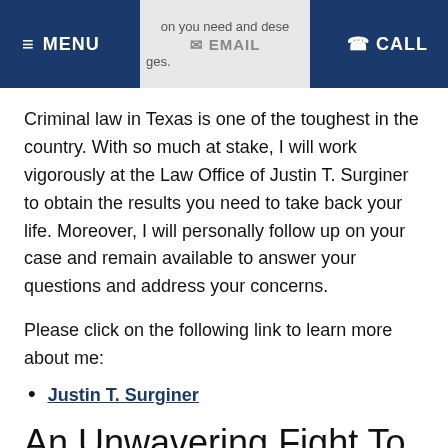MENU | on you need and dese | EMAIL | ges. | CALL
Criminal law in Texas is one of the toughest in the country. With so much at stake, I will work vigorously at the Law Office of Justin T. Surginer to obtain the results you need to take back your life. Moreover, I will personally follow up on your case and remain available to answer your questions and address your concerns.
Please click on the following link to learn more about me:
Justin T. Surginer
An Unwavering Fight To Deliver